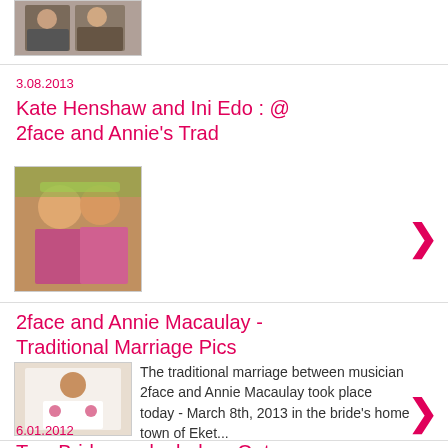[Figure (photo): Small thumbnail photo at top of page, partially visible, showing two people]
3.08.2013
Kate Henshaw and Ini Edo : @ 2face and Annie's Trad
[Figure (photo): Thumbnail photo showing women in traditional Nigerian attire]
2face and Annie Macaulay - Traditional Marriage Pics
[Figure (photo): Thumbnail photo showing a man in white traditional attire with beads]
The traditional marriage between musician 2face and Annie Macaulay took place today - March 8th, 2013 in the bride's home town of Eket...
6.01.2012
Two Brides and a baby - Out